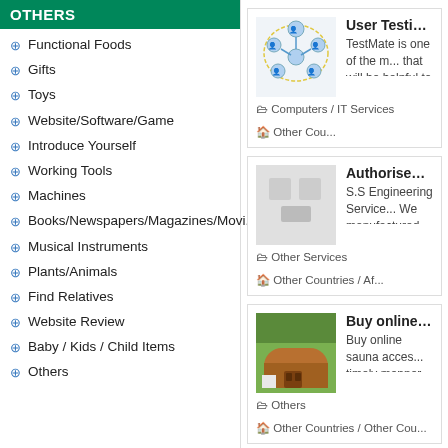OTHERS
Functional Foods
Gifts
Toys
Website/Software/Game
Introduce Yourself
Working Tools
Machines
Books/Newspapers/Magazines/Movi...
Musical Instruments
Plants/Animals
Find Relatives
Website Review
Baby / Kids / Child Items
Others
[Figure (screenshot): Card for User Testing Agents listing with network diagram image, category Computers / IT Services, Other Countries]
[Figure (screenshot): Card for Authorised Dealers listing with placeholder image, category Other Services, Other Countries / Af...]
[Figure (screenshot): Card for Buy online Sauna Ac... listing with sauna photo, category Others, Other Countries / Other Cou...]
Pagination: << < 1 2 3 4 5 6 7